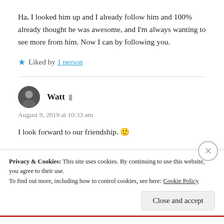Ha, I looked him up and I already follow him and 100% already thought he was awesome, and I'm always wanting to see more from him. Now I can by following you.
★ Liked by 1 person
Watt — August 9, 2019 at 10:33 am
I look forward to our friendship. 🙂
Privacy & Cookies: This site uses cookies. By continuing to use this website, you agree to their use. To find out more, including how to control cookies, see here: Cookie Policy
Close and accept